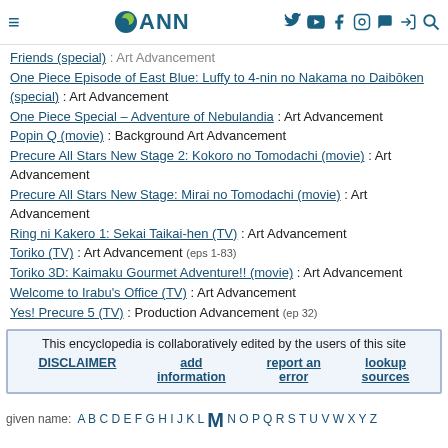ANN (Anime News Network) site header with logo and navigation icons
Friends (special) : Art Advancement
One Piece Episode of East Blue: Luffy to 4-nin no Nakama no Daibōken (special) : Art Advancement
One Piece Special – Adventure of Nebulandia : Art Advancement
Popin Q (movie) : Background Art Advancement
Precure All Stars New Stage 2: Kokoro no Tomodachi (movie) : Art Advancement
Precure All Stars New Stage: Mirai no Tomodachi (movie) : Art Advancement
Ring ni Kakero 1: Sekai Taikai-hen (TV) : Art Advancement
Toriko (TV) : Art Advancement (eps 1-83)
Toriko 3D: Kaimaku Gourmet Adventure!! (movie) : Art Advancement
Welcome to Irabu's Office (TV) : Art Advancement
Yes! Precure 5 (TV) : Production Advancement (ep 32)
This encyclopedia is collaboratively edited by the users of this site
DISCLAIMER | add information | report an error | lookup sources
given name: A B C D E F G H I J K L M N O P Q R S T U V W X Y Z